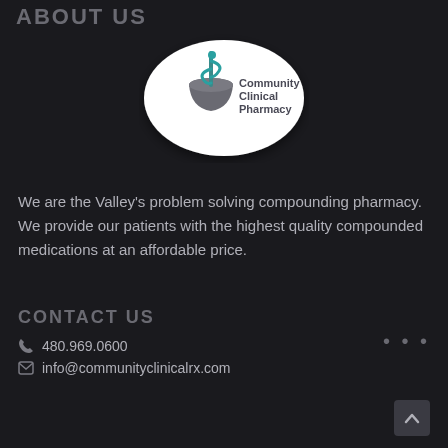ABOUT US
[Figure (logo): Community Clinical Pharmacy logo — oval white background with teal Rod of Asclepius symbol and text 'Community Clinical Pharmacy']
We are the Valley's problem solving compounding pharmacy. We provide our patients with the highest quality compounded medications at an affordable price.
CONTACT US
480.969.0600
info@communityclinicalrx.com